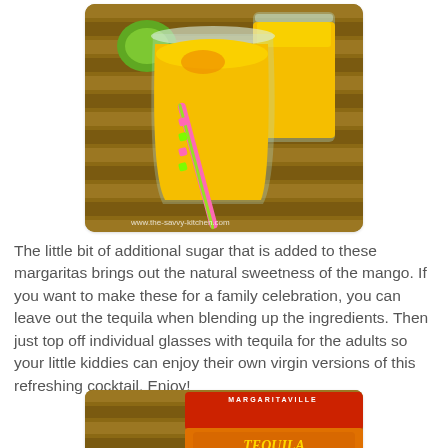[Figure (photo): Two glasses filled with bright yellow mango margarita slush, salted rims, with a pink and green striped straw in the foreground glass, green lime in background, on a wooden striped surface. Watermark: www.the-savvy-kitchen.com]
The little bit of additional sugar that is added to these margaritas brings out the natural sweetness of the mango. If you want to make these for a family celebration, you can leave out the tequila when blending up the ingredients. Then just top off individual glasses with tequila for the adults so your little kiddies can enjoy their own virgin versions of this refreshing cocktail. Enjoy!
[Figure (photo): Partial view of a Margaritaville Tequila Gold bottle label (orange and red label) on a wooden striped background with green lime pieces in the lower left.]